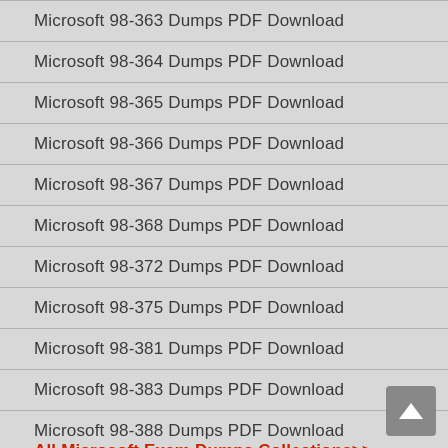Microsoft 98-363 Dumps PDF Download
Microsoft 98-364 Dumps PDF Download
Microsoft 98-365 Dumps PDF Download
Microsoft 98-366 Dumps PDF Download
Microsoft 98-367 Dumps PDF Download
Microsoft 98-368 Dumps PDF Download
Microsoft 98-372 Dumps PDF Download
Microsoft 98-375 Dumps PDF Download
Microsoft 98-381 Dumps PDF Download
Microsoft 98-383 Dumps PDF Download
Microsoft 98-388 Dumps PDF Download
All Microsoft Exam Dumps Collections>>